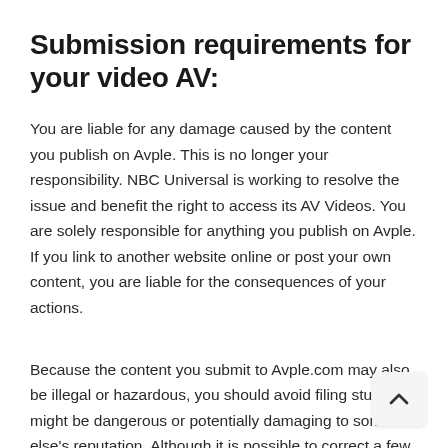Submission requirements for your video AV:
You are liable for any damage caused by the content you publish on Avple. This is no longer your responsibility. NBC Universal is working to resolve the issue and benefit the right to access its AV Videos. You are solely responsible for anything you publish on Avple. If you link to another website online or post your own content, you are liable for the consequences of your actions.
Because the content you submit to Avple.com may also be illegal or hazardous, you should avoid filing stuff that might be dangerous or potentially damaging to someone else's reputation. Although it is possible to correct a few errors, content that you publish is your responsibility. If you upload